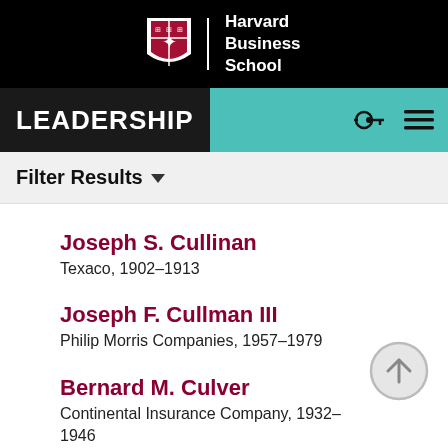[Figure (logo): Harvard Business School logo with shield and wordmark on black background]
LEADERSHIP
Filter Results
Joseph S. Cullinan
Texaco, 1902–1913
Joseph F. Cullman III
Philip Morris Companies, 1957–1979
Bernard M. Culver
Continental Insurance Company, 1932–1946
Nathan Cummings
Consolidated Foods, 1939–1975